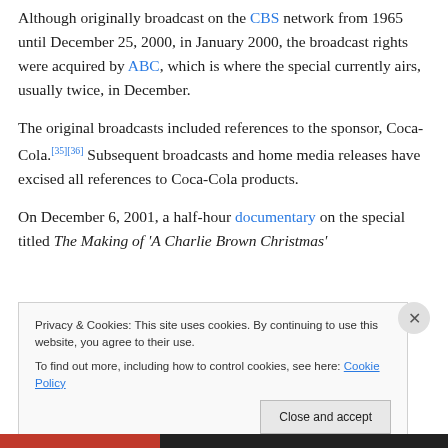Although originally broadcast on the CBS network from 1965 until December 25, 2000, in January 2000, the broadcast rights were acquired by ABC, which is where the special currently airs, usually twice, in December.
The original broadcasts included references to the sponsor, Coca-Cola.[35][36] Subsequent broadcasts and home media releases have excised all references to Coca-Cola products.
On December 6, 2001, a half-hour documentary on the special titled The Making of 'A Charlie Brown Christmas'
Privacy & Cookies: This site uses cookies. By continuing to use this website, you agree to their use.
To find out more, including how to control cookies, see here: Cookie Policy